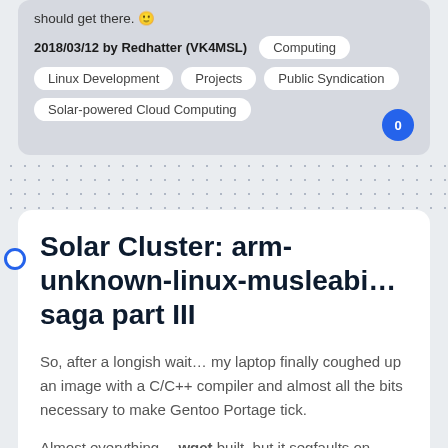should get there. 🙂
2018/03/12 by Redhatter (VK4MSL)
Computing
Linux Development
Projects
Public Syndication
Solar-powered Cloud Computing
Solar Cluster: arm-unknown-linux-musleabi… saga part III
So, after a longish wait… my laptop finally coughed up an image with a C/C++ compiler and almost all the bits necessary to make Gentoo Portage tick.
Almost everything… wget built, but it segfaults on start-up. No matter, it seems curl works. We do have an